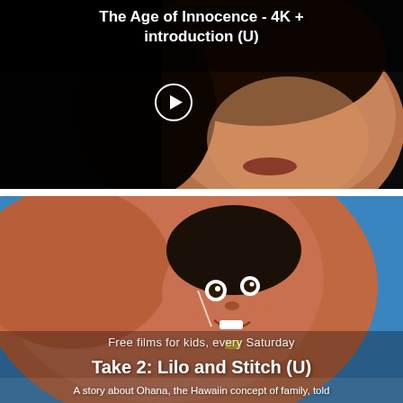[Figure (screenshot): Movie banner for 'The Age of Innocence - 4K + introduction (U)' showing a close-up of a woman's face against a dark background with a play button overlay]
The Age of Innocence - 4K + introduction (U)
[Figure (screenshot): Promotional banner for 'Take 2: Lilo and Stitch (U)' showing animated character Lilo from the Disney film against a warm background]
Free films for kids, every Saturday
Take 2: Lilo and Stitch (U)
A story about Ohana, the Hawaiin concept of family, told